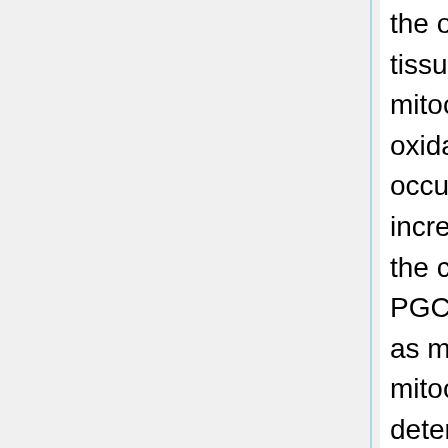the oxidative capacity of the tissue. The increase in mitochondrial mass and oxidative function in WAT occurred in parallel with an increase in the expression of the co-activators PGC-1α and PGC-1β, which are recognized as master regulators of mitochondrial biogenesis. To determine if CR-induced mitochondrial biogenesis was mediated by PGC-1s, we used PGC1α/β-FAT-DKO. We found reduced expression of mitochondrial genes, decreased mitochondrial protein content and impaired mitochondrial respiration in WAT of PGC1α/β-FAT-DKO mice fed ad libitum. Moreover, PGC1α/β-FAT-DKO mice failed to increase mitochondrial biogenesis and oxidative function in WAT in response to CR. Enhanced mitochondrial function in response to CR